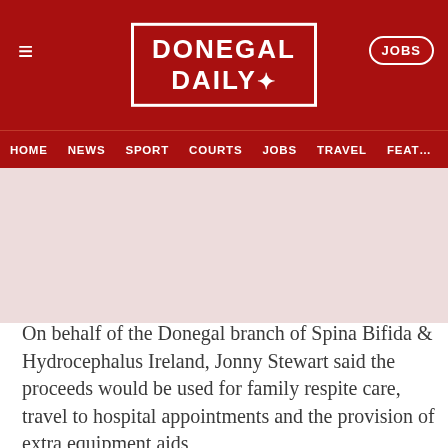DONEGAL DAILY
HOME  NEWS  SPORT  COURTS  JOBS  TRAVEL  FEAT…
On behalf of the Donegal branch of Spina Bifida & Hydrocephalus Ireland, Jonny Stewart said the proceeds would be used for family respite care, travel to hospital appointments and the provision of extra equipment aids